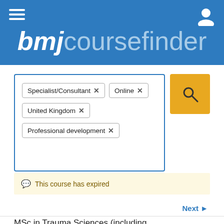bmjcoursefinder
[Figure (screenshot): Search filter box with tags: Specialist/Consultant x, Online x, United Kingdom x, Professional development x, and an orange search button]
This course has expired
Next ▶
MSc in Trauma Sciences (including